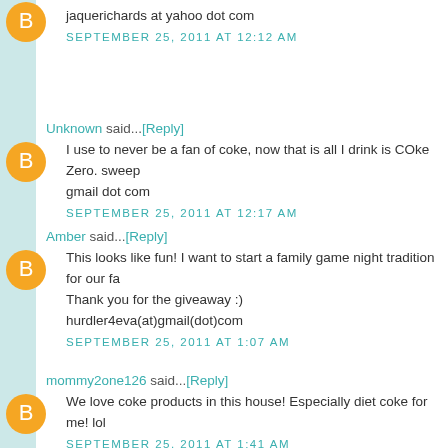jaquerichards at yahoo dot com
SEPTEMBER 25, 2011 AT 12:12 AM
Unknown said...[Reply]
I use to never be a fan of coke, now that is all I drink is COke Zero. sweep gmail dot com
SEPTEMBER 25, 2011 AT 12:17 AM
Amber said...[Reply]
This looks like fun! I want to start a family game night tradition for our fa Thank you for the giveaway :) hurdler4eva(at)gmail(dot)com
SEPTEMBER 25, 2011 AT 1:07 AM
mommy2one126 said...[Reply]
We love coke products in this house! Especially diet coke for me! lol
SEPTEMBER 25, 2011 AT 1:41 AM
hale2005 said...[Reply]